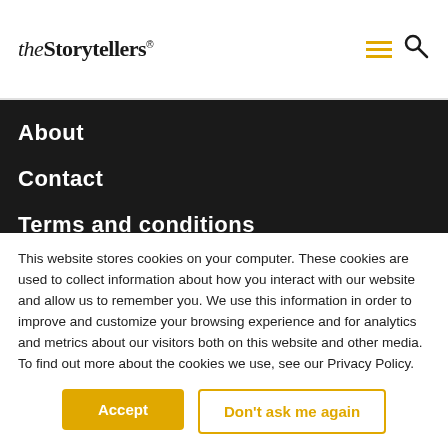theStorytellers
About
Contact
Terms and conditions
Privacy and cookie policy
+44 (0) 20 7590 5454
This website stores cookies on your computer. These cookies are used to collect information about how you interact with our website and allow us to remember you. We use this information in order to improve and customize your browsing experience and for analytics and metrics about our visitors both on this website and other media. To find out more about the cookies we use, see our Privacy Policy.
Accept
Don't ask me again